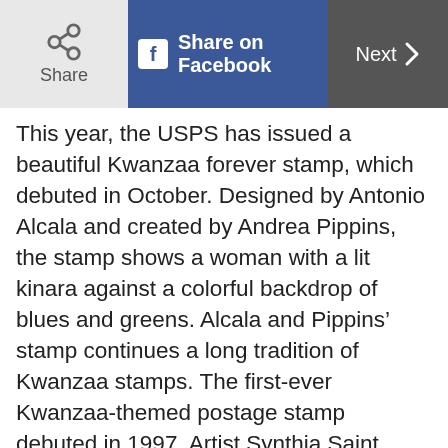Share | Share on Facebook | Next >
This year, the USPS has issued a beautiful Kwanzaa forever stamp, which debuted in October. Designed by Antonio Alcala and created by Andrea Pippins, the stamp shows a woman with a lit kinara against a colorful backdrop of blues and greens. Alcala and Pippins’ stamp continues a long tradition of Kwanzaa stamps. The first-ever Kwanzaa-themed postage stamp debuted in 1997. Artist Synthia Saint James designed it; it’s profiles of four African family members In 2015, the USPS commissioned her to design another one in anticipation of 2016, the 50th anniversary of the holiday